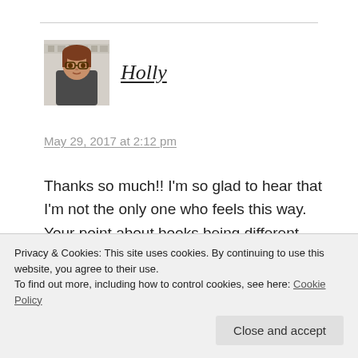[Figure (photo): Profile photo of a young woman with glasses and dark hair, against a light background with some decorations]
Holly
May 29, 2017 at 2:12 pm
Thanks so much!! I'm so glad to hear that I'm not the only one who feels this way. Your point about books being different within the same rating is a great one because it's so true. Some people view a 3 star rating as low, whereas I would view it as just an average, good book... but the only way to know how different people
Privacy & Cookies: This site uses cookies. By continuing to use this website, you agree to their use.
To find out more, including how to control cookies, see here: Cookie Policy
Close and accept